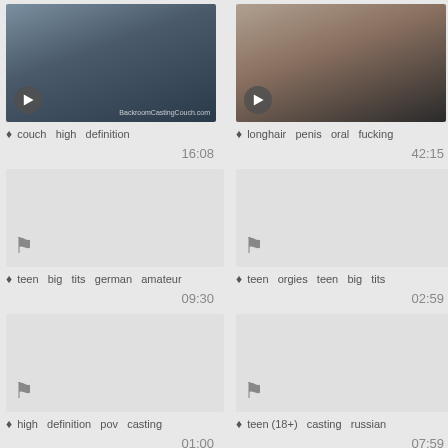[Figure (photo): Video thumbnail showing a blonde woman on a couch]
[Figure (photo): Video thumbnail showing a dark-haired woman in lingerie]
couch  high  definition
longhair  penis  oral  fucking
16:08
42:15
[Figure (other): Video placeholder with flag icon]
[Figure (other): Video placeholder with flag icon]
teen  big  tits  german  amateur
teen  orgies  teen  big  tits
09:30
02:59
[Figure (other): Video placeholder with flag icon]
[Figure (other): Video placeholder with flag icon]
high  definition  pov  casting
teen (18+)  casting  russian
01:00
07:59